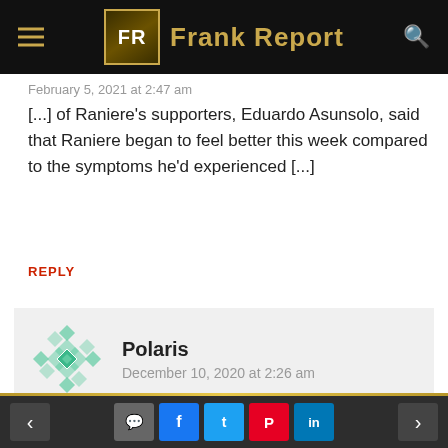Frank Report
February 5, 2021 at 2:47 am
[...] of Raniere's supporters, Eduardo Asunsolo, said that Raniere began to feel better this week compared to the symptoms he'd experienced [...]
REPLY
Polaris
December 10, 2020 at 2:26 am
Asunsolo makes some interesting points. In the past, women were excluded from important decision making processes, like being on a jury, because of their frailties. It is a little odd to allow